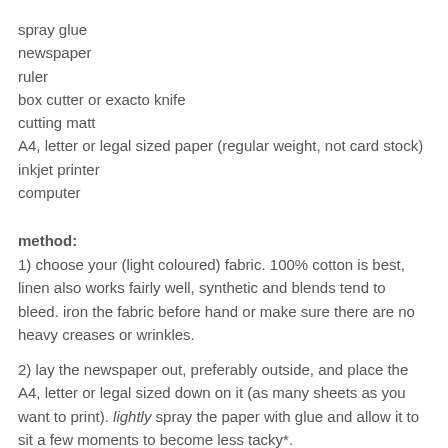spray glue
newspaper
ruler
box cutter or exacto knife
cutting matt
A4, letter or legal sized paper (regular weight, not card stock)
inkjet printer
computer
method:
1) choose your (light coloured) fabric. 100% cotton is best, linen also works fairly well, synthetic and blends tend to bleed. iron the fabric before hand or make sure there are no heavy creases or wrinkles.
2) lay the newspaper out, preferably outside, and place the A4, letter or legal sized down on it (as many sheets as you want to print). lightly spray the paper with glue and allow it to sit a few moments to become less tacky*.
3) place the paper onto your fabric, pressing down lightly to make sure it adheres. put fabric and paper on the cutting